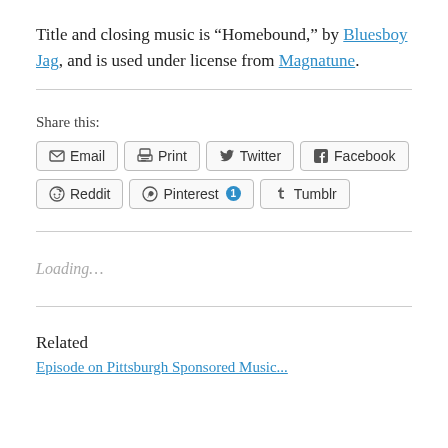Title and closing music is “Homebound,” by Bluesboy Jag, and is used under license from Magnatune.
Share this:
Email | Print | Twitter | Facebook | Reddit | Pinterest 1 | Tumblr
Loading...
Related
Episode on Pittsburgh Sponsored Music...